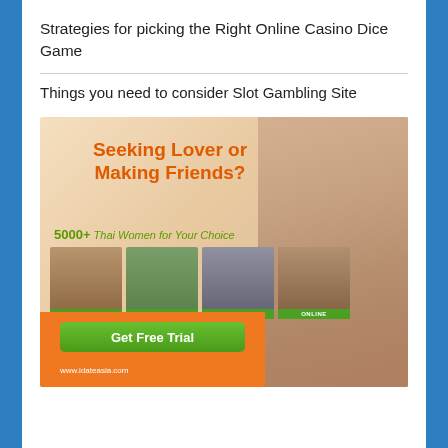Strategies for picking the Right Online Casino Dice Game
Things you need to consider Slot Gambling Site
[Figure (illustration): Dating site advertisement banner for www.idateasia.com. Orange and beige background with a woman in teal. Text reads 'Seeking Lover or Making Friends?' in orange bold, '5000+ Thai Women for Your Choice' in green italic, four thumbnail photos of women each labeled ONLINE in green, an orange bar at bottom with a green 'Get Free Trial' button, and www.idateasia.com URL in white.]